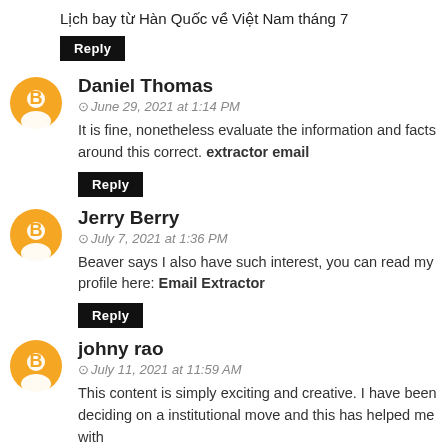Lịch bay từ Hàn Quốc về Việt Nam tháng 7
Reply
Daniel Thomas
June 29, 2021 at 1:14 PM
It is fine, nonetheless evaluate the information and facts around this correct. extractor email
Reply
Jerry Berry
July 7, 2021 at 1:36 PM
Beaver says I also have such interest, you can read my profile here: Email Extractor
Reply
johny rao
July 11, 2021 at 11:59 AM
This content is simply exciting and creative. I have been deciding on a institutional move and this has helped me with